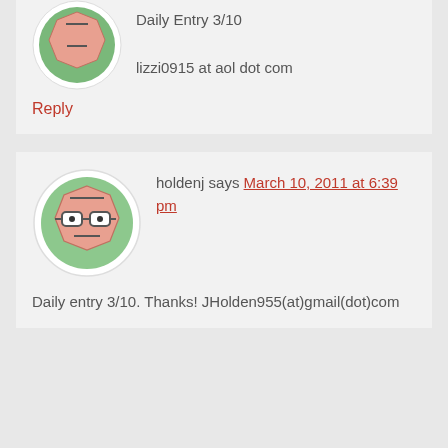[Figure (illustration): Cartoon avatar of a character with glasses in a circular green frame, partially visible at top]
Daily Entry 3/10

lizzi0915 at aol dot com
Reply
[Figure (illustration): Cartoon avatar of a character with glasses and a neutral expression in a circular green frame]
holdenj says March 10, 2011 at 6:39 pm
Daily entry 3/10. Thanks! JHolden955(at)gmail(dot)com